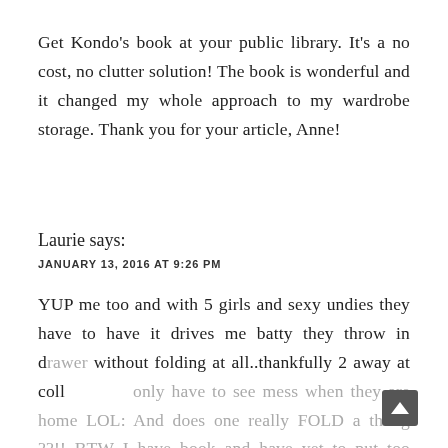Get Kondo's book at your public library. It's a no cost, no clutter solution! The book is wonderful and it changed my whole approach to my wardrobe storage. Thank you for your article, Anne!
Laurie says:
JANUARY 13, 2016 AT 9:26 PM
YUP me too and with 5 girls and sexy undies they have to have it drives me batty they throw in drawer without folding at all..thankfully 2 away at coll only have to see mess when they are home LOL: And does one really FOLD a thong ??!! BTW I have book and have yet to put too much to use..mostly cause DH